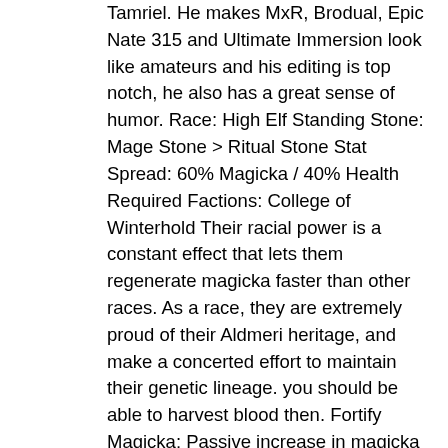Tamriel. He makes MxR, Brodual, Epic Nate 315 and Ultimate Immersion look like amateurs and his editing is top notch, he also has a great sense of humor. Race: High Elf Standing Stone: Mage Stone > Ritual Stone Stat Spread: 60% Magicka / 40% Health Required Factions: College of Winterhold Their racial power is a constant effect that lets them regenerate magicka faster than other races. As a race, they are extremely proud of their Aldmeri heritage, and make a concerted effort to maintain their genetic lineage. you should be able to harvest blood then. Fortify Magicka: Passive increase in magicka by 50 points. A total aesthetic but lore-adherent revamp of the elf races of Skyrim - makes elves' facial features less pointy and provides a choice over brow ridges or not. High elf blood. They are slender, with prominently pointed e… If you were looking for the best mages, look no further. Discussion in 'General Skyrim Discussion' started by SkyrimShark85, May 31, 2018. Most high elves were fair-skinned rather than dark, though sun elven skin was a hue darker than that of the star elves, moon